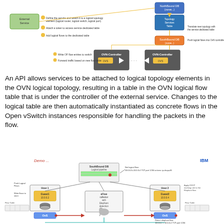[Figure (flowchart): Network topology diagram showing External Service attached to logical topology with NorthBound DB, Topology Services Table, SouthBound DB, and OVN-Controller nodes with OVS switches. Labels describe steps: Define the service and attach to logical topology element, Attach a token to access service dedicated table, Add logical flows to the dedicated table, Write OF flow entries to switch, Forward traffic based on new flow table, Translate new topology with service-dedicated table, Push logical flows into OvN controllers.]
An API allows services to be attached to logical topology elements in the OVN logical topology, resulting in a table in the OVN logical flow table that is under the controller of the external service. Changes to the logical table are then automatically instantiated as concrete flows in the Open vSwitch instances responsible for handling the packets in the flow.
[Figure (network-graph): Demo diagram labeled 'IBM' showing SouthBound DB logical pipeline with logical flow: 10.0.0.3+10.0.0.4 TCP port 1234 actions: ip.dscp=46. Host 1 with Guest1 10.0.0.2, Host 2 with Guest2 10.0.0.4, eFlow collector with Elephant detection in center. Flow Tables on both sides. OvS switches connected via red arrows. Detect elephant flow: 10.0.0.2 > 10.0.0.4 TCP port 1234. Apply DSCP marking rule to the Elephant flow. Push Logical Flows. Write flows to store.]